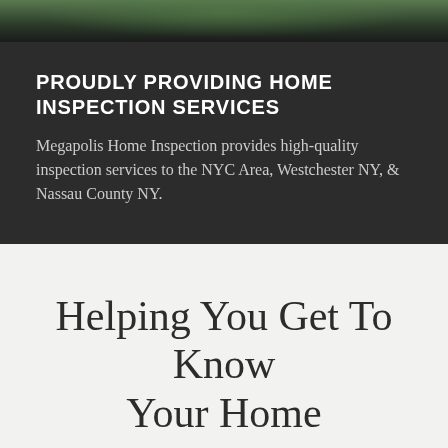[Figure (photo): Aerial or overhead photo of a house with trees/greenery, partially visible at top of page]
PROUDLY PROVIDING HOME INSPECTION SERVICES
Megapolis Home Inspection provides high-quality inspection services to the NYC Area, Westchester NY, & Nassau County NY.
Helping You Get To Know Your Home
so you can make informed decisions